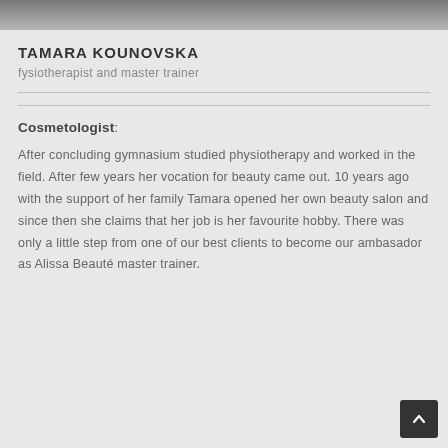[Figure (photo): Cropped photo strip showing partial view of a person, likely Tamara Kounovska]
TAMARA KOUNOVSKA
fysiotherapist and master trainer
Cosmetologist:
After concluding gymnasium studied physiotherapy and worked in the field. After few years her vocation for beauty came out. 10 years ago with the support of her family Tamara opened her own beauty salon and since then she claims that her job is her favourite hobby. There was only a little step from one of our best clients to become our ambasador as Alissa Beauté master trainer.